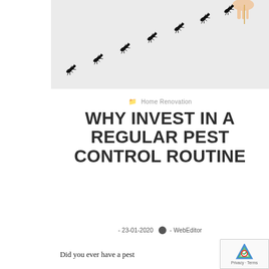[Figure (photo): Row of black ants walking diagonally across a white background, with a hand holding a toothpick or stick near the top right]
Home Renovation
WHY INVEST IN A REGULAR PEST CONTROL ROUTINE
- 23-01-2020  - WebEditor
Did you ever have a pest